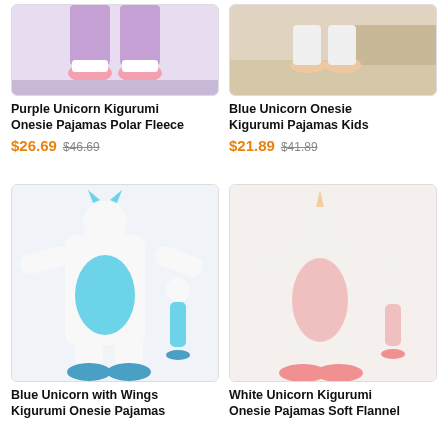[Figure (photo): Purple unicorn kigurumi onesie pajamas product photo showing lower body/legs in purple fleece with pink socks]
[Figure (photo): Blue unicorn onesie kigurumi pajamas kids product photo showing person's feet/legs near furniture]
Purple Unicorn Kigurumi Onesie Pajamas Polar Fleece
$26.69  $46.69
Blue Unicorn Onesie Kigurumi Pajamas Kids
$21.89  $41.89
[Figure (photo): Blue unicorn with wings kigurumi onesie pajamas product photo showing adult and child in white and blue unicorn costumes with blue feet slippers]
[Figure (photo): White unicorn kigurumi onesie pajamas soft flannel product photo showing adult and child in white unicorn costumes with pink slippers]
Blue Unicorn with Wings Kigurumi Onesie Pajamas
White Unicorn Kigurumi Onesie Pajamas Soft Flannel